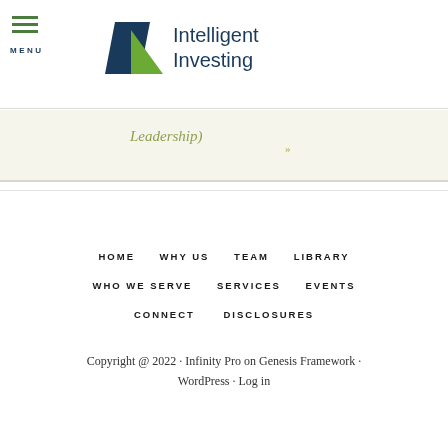MENU | Intelligent Investing
Leadership)
HOME  WHY US  TEAM  LIBRARY  WHO WE SERVE  SERVICES  EVENTS  CONNECT  DISCLOSURES
Copyright @ 2022 · Infinity Pro on Genesis Framework · WordPress · Log in